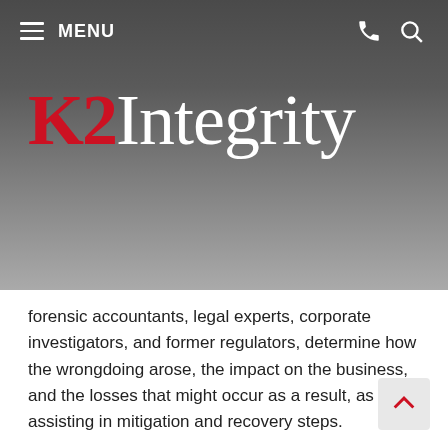MENU
[Figure (logo): K2 Integrity logo — K2 in red serif font, Integrity in white serif font, on dark grey gradient background]
forensic accountants, legal experts, corporate investigators, and former regulators, determine how the wrongdoing arose, the impact on the business, and the losses that might occur as a result, as well assisting in mitigation and recovery steps.
Data Analytics: We leverage cutting-edge technology to dissect previously unmanageable data sets, to quickly discover links and connections, presenting our findings in a court-